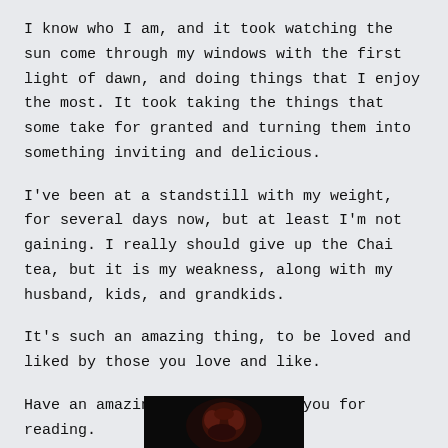I know who I am, and it took watching the sun come through my windows with the first light of dawn, and doing things that I enjoy the most. It took taking the things that some take for granted and turning them into something inviting and delicious.
I've been at a standstill with my weight, for several days now, but at least I'm not gaining. I really should give up the Chai tea, but it is my weakness, along with my husband, kids, and grandkids.
It's such an amazing thing, to be loved and liked by those you love and like.
Have an amazing day, and thank you for reading.
[Figure (photo): A small dark image strip at the bottom center of the page, appearing to show a figure or scene with dark red/brown tones against a black background.]